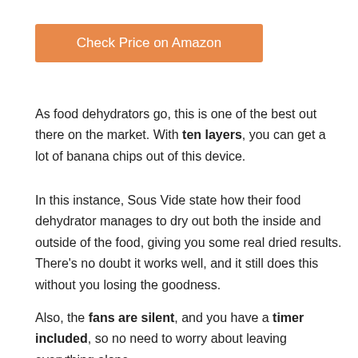[Figure (other): Orange button labeled 'Check Price on Amazon']
As food dehydrators go, this is one of the best out there on the market. With ten layers, you can get a lot of banana chips out of this device.
In this instance, Sous Vide state how their food dehydrator manages to dry out both the inside and outside of the food, giving you some real dried results. There's no doubt it works well, and it still does this without you losing the goodness.
Also, the fans are silent, and you have a timer included, so no need to worry about leaving everything alone.
Removing the racks is done instantly, so you can add in or take away whenever you want and do so with ease. Overall, the